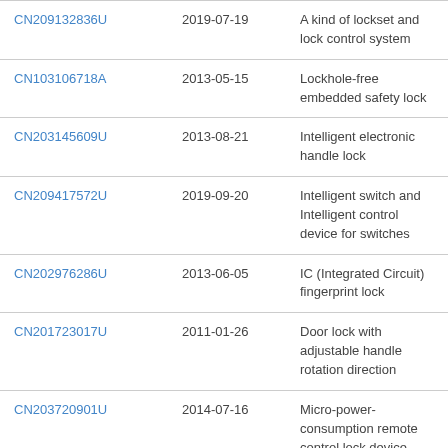| Patent | Date | Description |
| --- | --- | --- |
| CN209132836U | 2019-07-19 | A kind of lockset and lock control system |
| CN103106718A | 2013-05-15 | Lockhole-free embedded safety lock |
| CN203145609U | 2013-08-21 | Intelligent electronic handle lock |
| CN209417572U | 2019-09-20 | Intelligent switch and Intelligent control device for switches |
| CN202976286U | 2013-06-05 | IC (Integrated Circuit) fingerprint lock |
| CN201723017U | 2011-01-26 | Door lock with adjustable handle rotation direction |
| CN203720901U | 2014-07-16 | Micro-power-consumption remote control lock device remotely controlled by mobile phone Bluetooth and supplied with power by battery |
| CN206353589U | 2017-08-28 | Intelligent lock... |